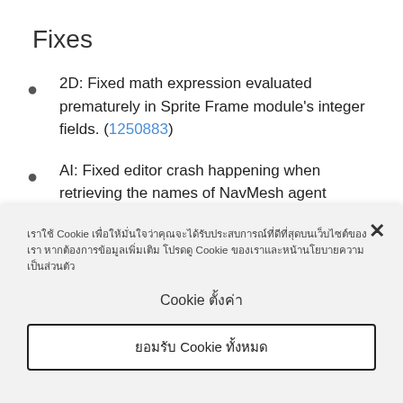Fixes
2D: Fixed math expression evaluated prematurely in Sprite Frame module's integer fields. (1250883)
AI: Fixed editor crash happening when retrieving the names of NavMesh agent configurations from a corrupt NavMeshAreas asset file. (1257220)
เราใช้ Cookie เพื่อให้มั่นใจว่าคุณจะได้รับประสบการณ์ที่ดีที่สุดบนเว็บไซต์ของเรา หากต้องการข้อมูลเพิ่มเติม โปรดดู Cookie ของเราและหน้านโยบายความเป็นส่วนตัว
Cookie ตั้งค่า
ยอมรับ Cookie ทั้งหมด